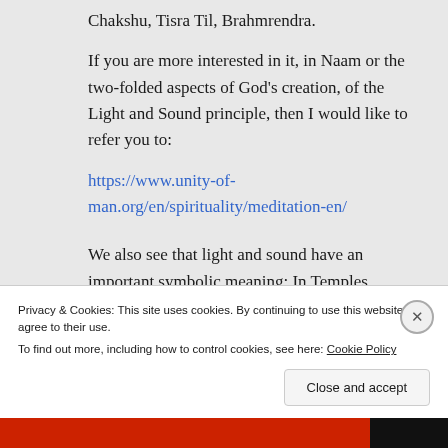Chakshu, Tisra Til, Brahmrendra.
If you are more interested in it, in Naam or the two-folded aspects of God's creation, of the Light and Sound principle, then I would like to refer you to:
https://www.unity-of-man.org/en/spirituality/meditation-en/
We also see that light and sound have an important symbolic meaning: In Temples,
Privacy & Cookies: This site uses cookies. By continuing to use this website, you agree to their use.
To find out more, including how to control cookies, see here: Cookie Policy
Close and accept